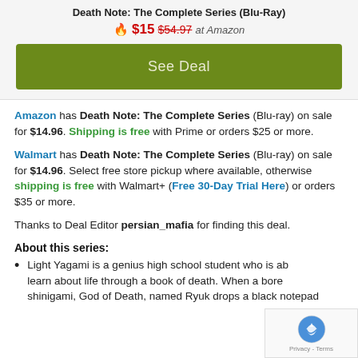Death Note: The Complete Series (Blu-Ray)
🔥 $15 $54.97 at Amazon
[Figure (other): Green 'See Deal' button]
Amazon has Death Note: The Complete Series (Blu-ray) on sale for $14.96. Shipping is free with Prime or orders $25 or more.
Walmart has Death Note: The Complete Series (Blu-ray) on sale for $14.96. Select free store pickup where available, otherwise shipping is free with Walmart+ (Free 30-Day Trial Here) or orders $35 or more.
Thanks to Deal Editor persian_mafia for finding this deal.
About this series:
Light Yagami is a genius high school student who is about to learn about life through a book of death. When a bored shinigami, God of Death, named Ryuk drops a black notepad